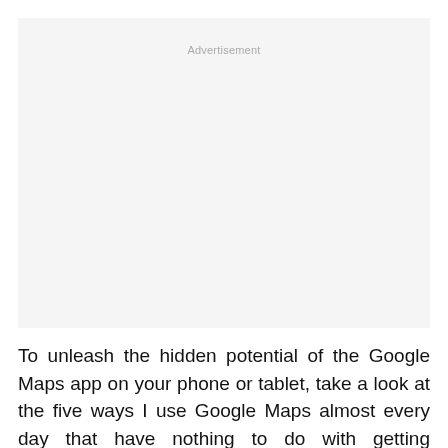[Figure (other): Advertisement placeholder box with light gray background]
To unleash the hidden potential of the Google Maps app on your phone or tablet, take a look at the five ways I use Google Maps almost every day that have nothing to do with getting directions.